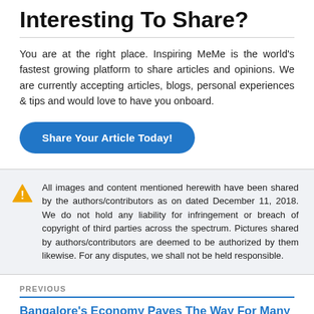Interesting To Share?
You are at the right place. Inspiring MeMe is the world's fastest growing platform to share articles and opinions. We are currently accepting articles, blogs, personal experiences & tips and would love to have you onboard.
[Figure (other): Blue rounded button with white bold text: 'Share Your Article Today!']
All images and content mentioned herewith have been shared by the authors/contributors as on dated December 11, 2018. We do not hold any liability for infringement or breach of copyright of third parties across the spectrum. Pictures shared by authors/contributors are deemed to be authorized by them likewise. For any disputes, we shall not be held responsible.
PREVIOUS
Bangalore's Economy Paves The Way For Many Job Opportunities